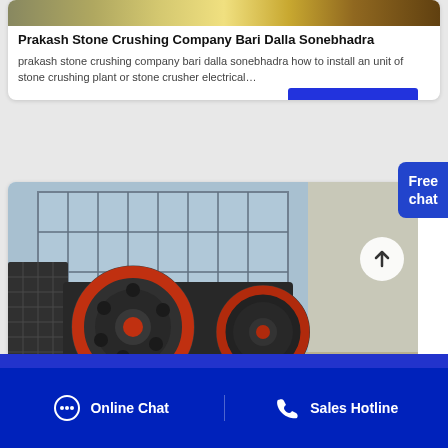[Figure (photo): Industrial stone crusher machinery with large red and black flywheels in a factory setting with grid windows]
Prakash Stone Crushing Company Bari Dalla Sonebhadra
prakash stone crushing company bari dalla sonebhadra how to install an unit of stone crushing plant or stone crusher electrical…
GET PRICE
Free chat
[Figure (photo): Stone crusher industrial equipment with large red-rimmed flywheels inside manufacturing facility]
Online Chat
Sales Hotline